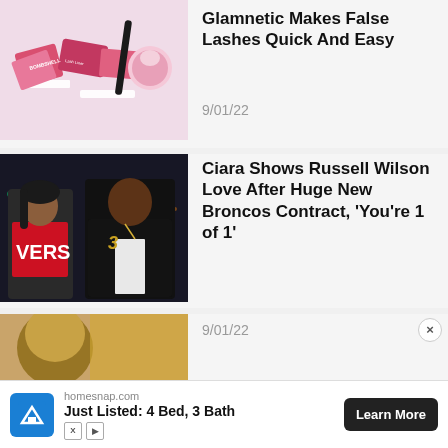[Figure (photo): Glamnetic false lashes beauty products arranged on a pink background with boxes and mascara wand]
Glamnetic Makes False Lashes Quick And Easy
9/01/22
[Figure (photo): Ciara and Russell Wilson posing together at a night event, Ciara in a red Versace top, Russell in a black varsity jacket]
Ciara Shows Russell Wilson Love After Huge New Broncos Contract, 'You're 1 of 1'
9/01/22
[Figure (photo): Partial view of a third article image with warm tones]
[Figure (other): Advertisement banner: homesnap.com - Just Listed: 4 Bed, 3 Bath with Learn More button]